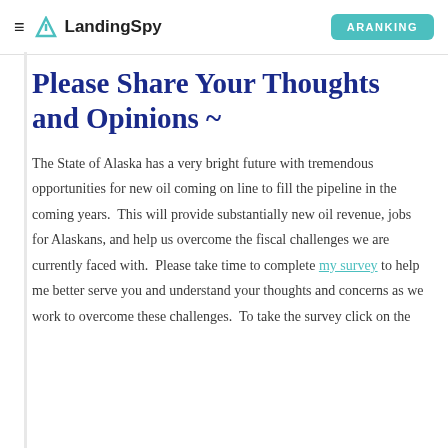≡ LandingSpy | ARANKING
Please Share Your Thoughts and Opinions ~
The State of Alaska has a very bright future with tremendous opportunities for new oil coming on line to fill the pipeline in the coming years.  This will provide substantially new oil revenue, jobs for Alaskans, and help us overcome the fiscal challenges we are currently faced with.  Please take time to complete my survey to help me better serve you and understand your thoughts and concerns as we work to overcome these challenges.  To take the survey click on the